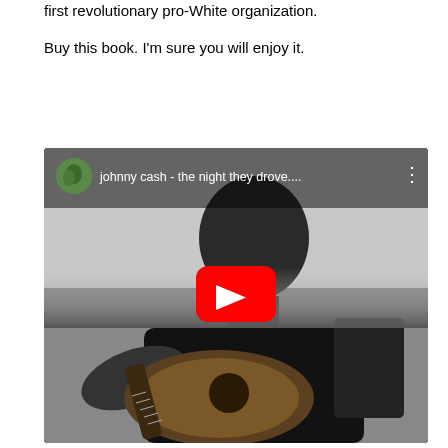first revolutionary pro-White organization.
Buy this book. I'm sure you will enjoy it.
[Figure (screenshot): YouTube video thumbnail showing a man playing acoustic guitar in black and white, with YouTube play button overlay. Video title: 'johnny cash - the night they drove....']